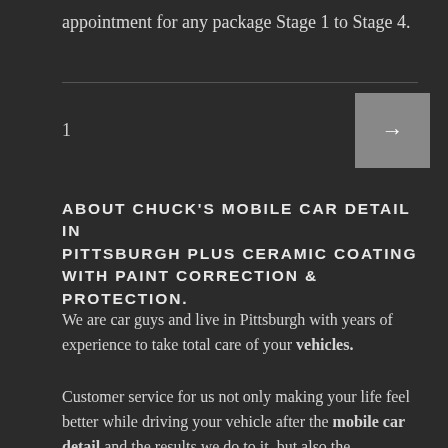appointment for any package Stage 1 to Stage 4.
1  →
ABOUT CHUCK'S MOBILE CAR DETAIL IN PITTSBURGH PLUS CERAMIC COATING WITH PAINT CORRECTION & PROTECTION.
We are car guys and live in Pittsburgh with years of experience to take total care of your vehicles.
Customer service for us not only making your life feel better while driving your vehicle after the mobile car detail and the results we do to it, but also the convenience and service you get making an appointment